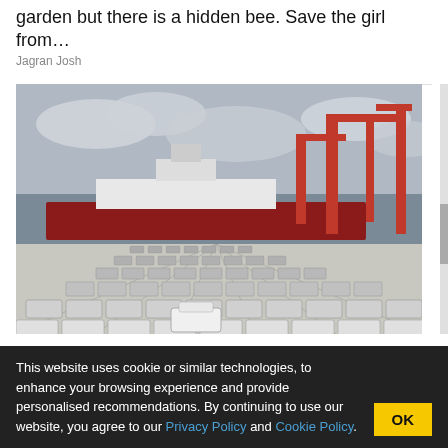garden but there is a hidden bee. Save the girl from…
Jagran Josh
[Figure (photo): A large port with rows of hundreds of new cars parked on a dock, with a large cargo ship and red industrial cranes visible in the background under a cloudy sky.]
Unsold 2021 SUVs Going For Pennies On The Dollar (See Prices)
SUV Best Deals | Search Ads | Sponsored
This website uses cookie or similar technologies, to enhance your browsing experience and provide personalised recommendations. By continuing to use our website, you agree to our Privacy Policy and Cookie Policy.